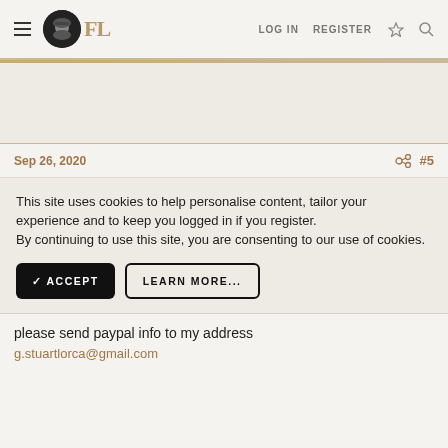FL LOG IN REGISTER
Sep 26, 2020  #5
This site uses cookies to help personalise content, tailor your experience and to keep you logged in if you register.
By continuing to use this site, you are consenting to our use of cookies.
✓ ACCEPT   LEARN MORE...
please send paypal info to my address
g.stuartlorca@gmail.com